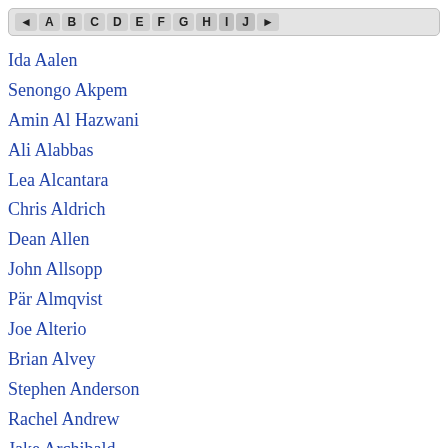◄ A B C D E F G H I J ►
Ida Aalen
Senongo Akpem
Amin Al Hazwani
Ali Alabbas
Lea Alcantara
Chris Aldrich
Dean Allen
John Allsopp
Pär Almqvist
Joe Alterio
Brian Alvey
Stephen Anderson
Rachel Andrew
Jake Archibald